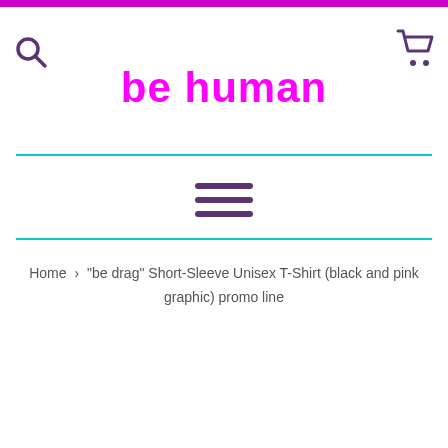be human
[Figure (other): Hamburger menu icon with three horizontal bars in dark purple]
Home > "be drag" Short-Sleeve Unisex T-Shirt (black and pink graphic) promo line